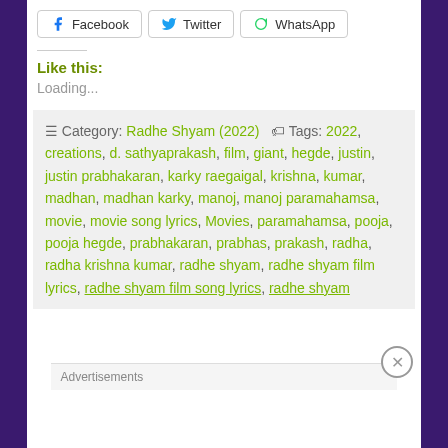Facebook  Twitter  WhatsApp
Like this:
Loading...
Category: Radhe Shyam (2022)  Tags: 2022, creations, d. sathyaprakash, film, giant, hegde, justin, justin prabhakaran, karky raegaigal, krishna, kumar, madhan, madhan karky, manoj, manoj paramahamsa, movie, movie song lyrics, Movies, paramahamsa, pooja, pooja hegde, prabhakaran, prabhas, prakash, radha, radha krishna kumar, radhe shyam, radhe shyam film lyrics, radhe shyam film song lyrics, radhe shyam
Advertisements